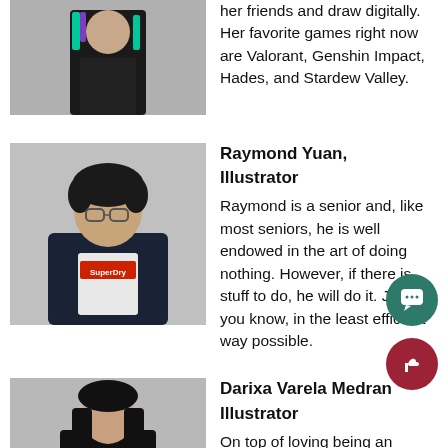[Figure (photo): Person in black jacket with colorful design, partial view at top of page]
her friends and draw digitally. Her favorite games right now are Valorant, Genshin Impact, Hades, and Stardew Valley.
[Figure (photo): Raymond Yuan wearing a SuperDry hoodie, standing against a gray background]
Raymond Yuan, Illustrator
Raymond is a senior and, like most seniors, he is well endowed in the art of doing nothing. However, if there is stuff to do, he will do it. Just, you know, in the least efficient way possible.
[Figure (photo): Darixa Varela Medrano wearing a black jacket, partial view at bottom of page]
Darixa Varela Medrano, Illustrator
On top of loving being an illustrator, Darixa enjoys hanging out with friends...